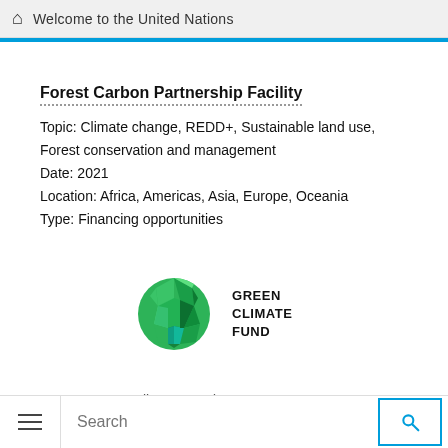Welcome to the United Nations
Forest Carbon Partnership Facility
Topic: Climate change, REDD+, Sustainable land use, Forest conservation and management
Date: 2021
Location: Africa, Americas, Asia, Europe, Oceania
Type: Financing opportunities
[Figure (logo): Green Climate Fund logo — a green polygonal sphere shape alongside the text GREEN CLIMATE FUND in bold black uppercase letters]
Green Climate Fund
Search